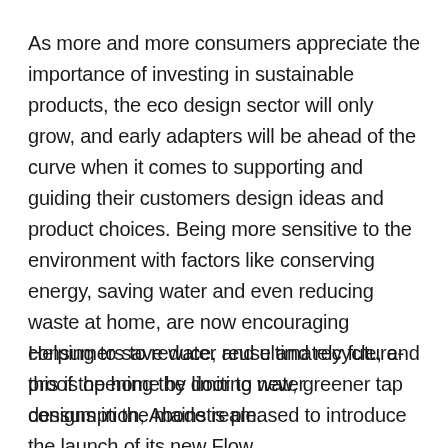As more and more consumers appreciate the importance of investing in sustainable products, the eco design sector will only grow, and early adapters will be ahead of the curve when it comes to supporting and guiding their customers design ideas and product choices. Being more sensitive to the environment with factors like conserving energy, saving water and even reducing waste at home, are now encouraging consumers to reduce, reuse and recycle, and this is opening the door to new, greener tap designs in the mainstream.
Helping to save water and ultimately future-proof the home by limiting water consumption, Abode is pleased to introduce the launch of its new Flow